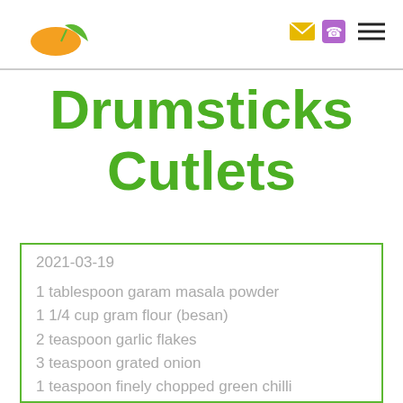Logo and navigation icons
Drumsticks Cutlets
2021-03-19
1 tablespoon garam masala powder
1 1/4 cup gram flour (besan)
2 teaspoon garlic flakes
3 teaspoon grated onion
1 teaspoon finely chopped green chilli